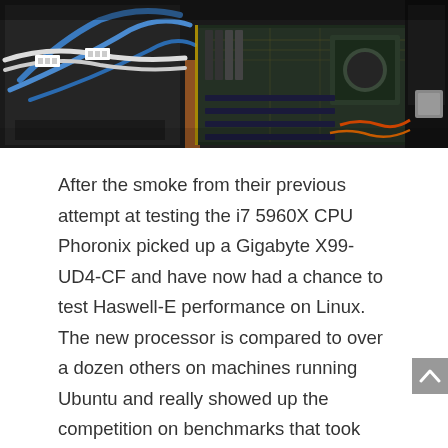[Figure (photo): Overhead photo of computer hardware components including a motherboard, GPU cards with cables (blue cables visible), PCIe slots, and other PC components laid out on a wooden/orange surface. The image shows what appears to be a multi-GPU or multi-component test bench setup.]
After the smoke from their previous attempt at testing the i7 5960X CPU Phoronix picked up a Gigabyte X99-UD4-CF and have now had a chance to test Haswell-E performance on Linux. The new processor is compared to over a dozen others on machines running Ubuntu and really showed up the competition on benchmarks that took advantage of the 8 cores.  Single threaded applications that depended on a higher clock speed proved to be a weakness as the 4790K's higher frequency allowed it to outperform the